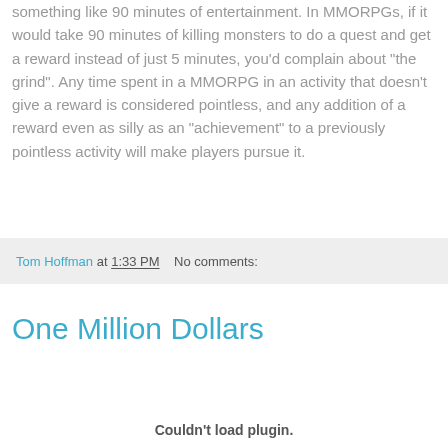something like 90 minutes of entertainment. In MMORPGs, if it would take 90 minutes of killing monsters to do a quest and get a reward instead of just 5 minutes, you'd complain about "the grind". Any time spent in a MMORPG in an activity that doesn't give a reward is considered pointless, and any addition of a reward even as silly as an "achievement" to a previously pointless activity will make players pursue it.
Tom Hoffman at 1:33 PM   No comments:
One Million Dollars
Couldn't load plugin.